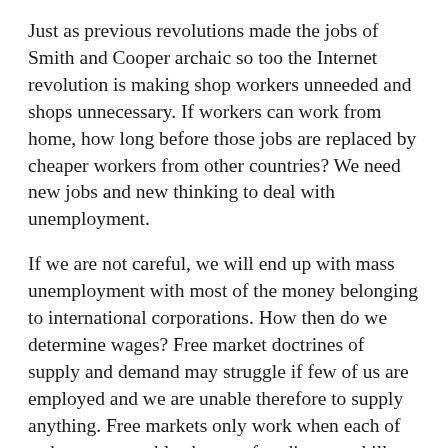Just as previous revolutions made the jobs of Smith and Cooper archaic so too the Internet revolution is making shop workers unneeded and shops unnecessary. If workers can work from home, how long before those jobs are replaced by cheaper workers from other countries? We need new jobs and new thinking to deal with unemployment.
If we are not careful, we will end up with mass unemployment with most of the money belonging to international corporations. How then do we determine wages? Free market doctrines of supply and demand may struggle if few of us are employed and we are unable therefore to supply anything. Free markets only work when each of us has a reasonable chance of trading our skills and work for wages. But if the market is in the hands of corporations who produce everything then it would be rigged against the majority who could no longer take part.
At this point we may need ideas from the Left in order to find some reliable fair balance, and before that which